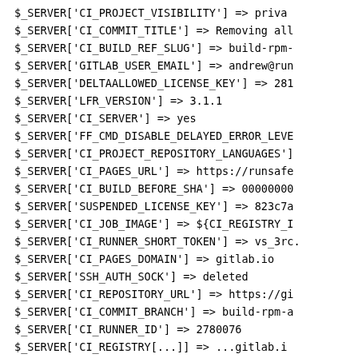$_SERVER['CI_PROJECT_VISIBILITY'] => priva
$_SERVER['CI_COMMIT_TITLE'] => Removing all
$_SERVER['CI_BUILD_REF_SLUG'] => build-rpm-
$_SERVER['GITLAB_USER_EMAIL'] => andrew@run
$_SERVER['DELTAALLOWED_LICENSE_KEY'] => 281
$_SERVER['LFR_VERSION'] => 3.1.1
$_SERVER['CI_SERVER'] => yes
$_SERVER['FF_CMD_DISABLE_DELAYED_ERROR_LEVE
$_SERVER['CI_PROJECT_REPOSITORY_LANGUAGES']
$_SERVER['CI_PAGES_URL'] => https://runsafe
$_SERVER['CI_BUILD_BEFORE_SHA'] => 00000000
$_SERVER['SUSPENDED_LICENSE_KEY'] => 823c7a
$_SERVER['CI_JOB_IMAGE'] => ${CI_REGISTRY_I
$_SERVER['CI_RUNNER_SHORT_TOKEN'] => vs_3rc.
$_SERVER['CI_PAGES_DOMAIN'] => gitlab.io
$_SERVER['SSH_AUTH_SOCK'] => deleted
$_SERVER['CI_REPOSITORY_URL'] => https://gi
$_SERVER['CI_COMMIT_BRANCH'] => build-rpm-a
$_SERVER['CI_RUNNER_ID'] => 2780076
$_SERVER['CI_REGISTRY[...]] => ...gitlab.i